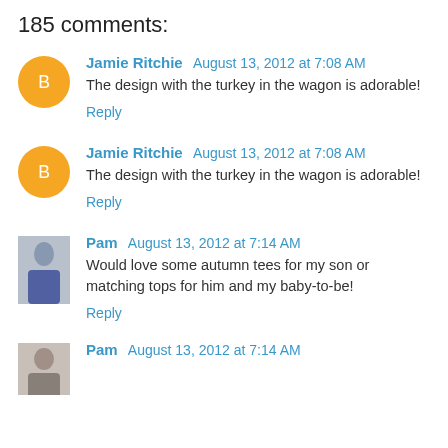185 comments:
Jamie Ritchie August 13, 2012 at 7:08 AM
The design with the turkey in the wagon is adorable!
Reply
Jamie Ritchie August 13, 2012 at 7:08 AM
The design with the turkey in the wagon is adorable!
Reply
Pam August 13, 2012 at 7:14 AM
Would love some autumn tees for my son or matching tops for him and my baby-to-be!
Reply
Pam August 13, 2012 at 7:14 AM